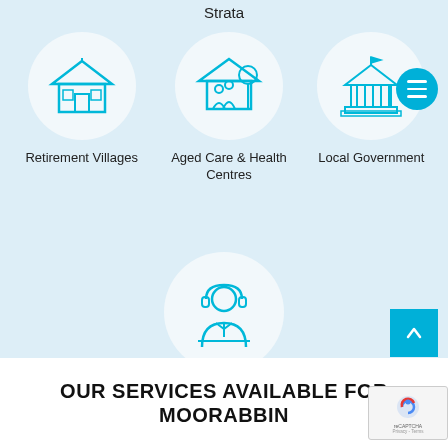Strata
[Figure (illustration): Circular icon with house/retirement village building in blue outline style]
Retirement Villages
[Figure (illustration): Circular icon with family figures and tree representing aged care and health centres in blue outline style]
Aged Care & Health Centres
[Figure (illustration): Circular icon with government/civic building with columns and flag in blue outline style]
Local Government
[Figure (illustration): Circular icon with customer service / facility manager figure with headset in blue outline style]
Facility Managers
OUR SERVICES AVAILABLE FOR MOORABBIN